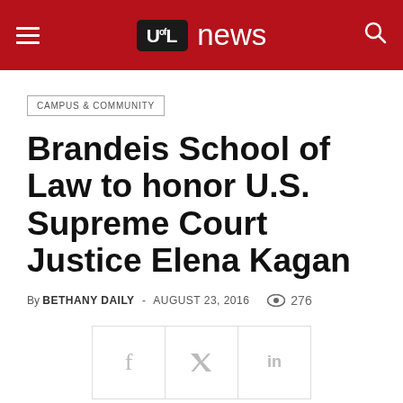UL news
CAMPUS & COMMUNITY
Brandeis School of Law to honor U.S. Supreme Court Justice Elena Kagan
By BETHANY DAILY - AUGUST 23, 2016  276
[Figure (other): Social share buttons for Facebook (f), Twitter (t), and LinkedIn (in)]